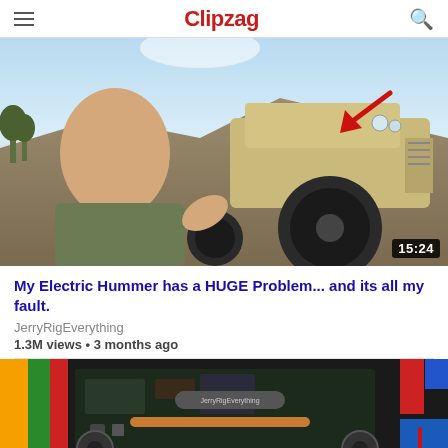Clipzag
[Figure (screenshot): Video thumbnail showing a man in olive t-shirt taking a selfie in front of a military Humvee climbing a dirt mound. A red arrow points to the Humvee in the top-right corner. Duration badge shows 15:24.]
My Electric Hummer has a HUGE Problem... and its all my fault.
JerryRigEverything
1.3M views • 3 months ago
[Figure (screenshot): Partial thumbnail showing electronics/internals of a laptop or device teardown, with colorful wires on the left and circuit boards visible. A red arrow points downward in the bottom-right corner. JerryRigEverything label is visible on a component.]